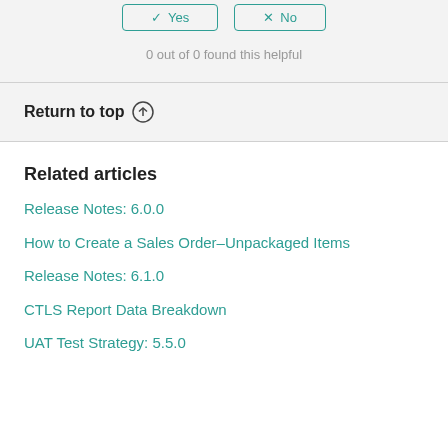[Figure (other): Yes and No vote buttons with teal border and icons]
0 out of 0 found this helpful
Return to top ↑
Related articles
Release Notes: 6.0.0
How to Create a Sales Order–Unpackaged Items
Release Notes: 6.1.0
CTLS Report Data Breakdown
UAT Test Strategy: 5.5.0